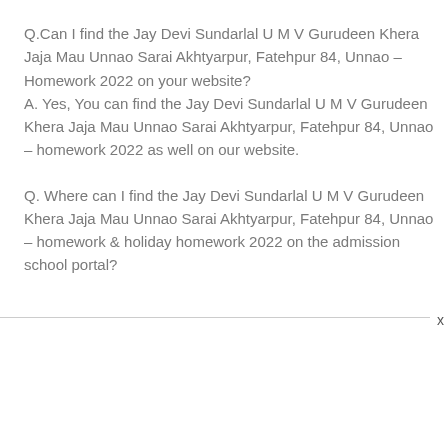Q.Can I find the Jay Devi Sundarlal U M V Gurudeen Khera Jaja Mau Unnao Sarai Akhtyarpur, Fatehpur 84, Unnao – Homework 2022 on your website? A. Yes, You can find the Jay Devi Sundarlal U M V Gurudeen Khera Jaja Mau Unnao Sarai Akhtyarpur, Fatehpur 84, Unnao – homework 2022 as well on our website.
Q. Where can I find the Jay Devi Sundarlal U M V Gurudeen Khera Jaja Mau Unnao Sarai Akhtyarpur, Fatehpur 84, Unnao – homework & holiday homework 2022 on the admission school portal?